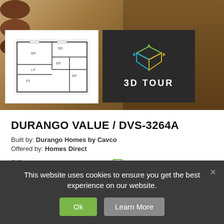[Figure (photo): Kitchen interior with dark wood bar stools and cabinets, with a floorplan thumbnail overlay on the left and a 3D Tour button overlay on the right]
DURANGO VALUE / DVS-3264A
Built by: Durango Homes by Cavco
Offered by: Homes Direct
4 bedrooms, 2 bathrooms, 2000 ft², 31'3" x 64'0"
Details
This website uses cookies to ensure you get the best experience on our website.
Ok
Learn More